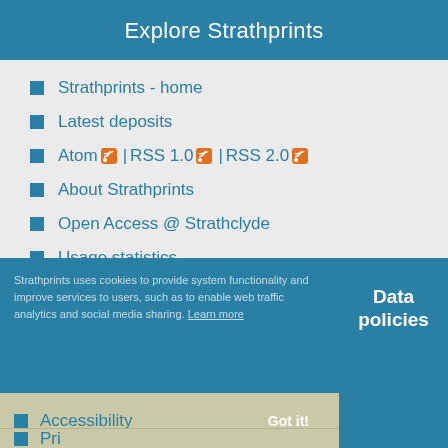Explore Strathprints
Strathprints - home
Latest deposits
Atom | RSS 1.0 | RSS 2.0
About Strathprints
Open Access @ Strathclyde
Usage statistics
Strathprints uses cookies to provide system functionality and improve services to users, such as to enable web traffic analytics and social media sharing. Learn more
Data policies
Accessibility
Pri...